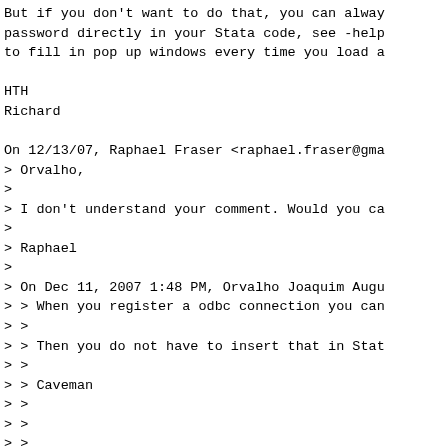But if you don't want to do that, you can always
password directly in your Stata code, see -help
to fill in pop up windows every time you load a
HTH
Richard
On 12/13/07, Raphael Fraser <raphael.fraser@gma
> Orvalho,
>
> I don't understand your comment. Would you ca
>
> Raphael
>
> On Dec 11, 2007 1:48 PM, Orvalho Joaquim Augu
> > When you register a odbc connection you can
> >
> > Then you do not have to insert that in Stat
> >
> > Caveman
> >
> >
> >
> >
> >
> > On Tue, 2007 12 11 at 12:22 -0500, Tam Dha